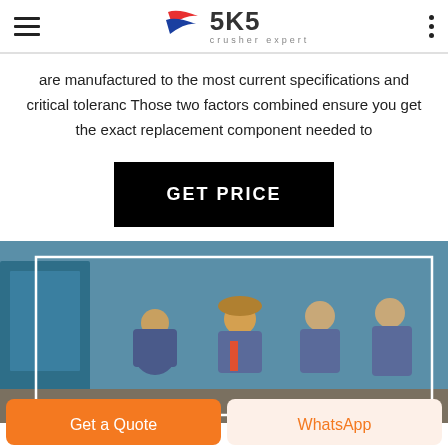SKS crusher expert
are manufactured to the most current specifications and critical toleranc Those two factors combined ensure you get the exact replacement component needed to
GET PRICE
[Figure (photo): Workers in blue uniforms working in a factory/workshop setting, with a white rectangle border overlay on the image. Background shows blue industrial equipment.]
Get a Quote
WhatsApp